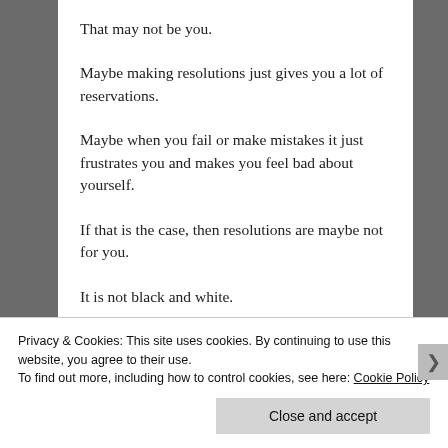That may not be you.
Maybe making resolutions just gives you a lot of reservations.
Maybe when you fail or make mistakes it just frustrates you and makes you feel bad about yourself.
If that is the case, then resolutions are maybe not for you.
It is not black and white.
Privacy & Cookies: This site uses cookies. By continuing to use this website, you agree to their use.
To find out more, including how to control cookies, see here: Cookie Policy
Close and accept